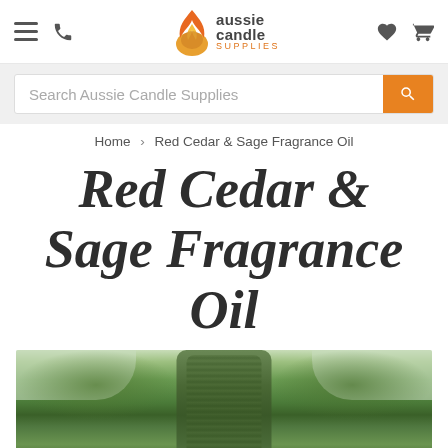Aussie Candle Supplies — navigation header with hamburger menu, phone icon, logo, heart and cart icons
Search Aussie Candle Supplies
Home > Red Cedar & Sage Fragrance Oil
Red Cedar & Sage Fragrance Oil
[Figure (photo): Tall moss-covered red cedar tree trunk photographed from below looking up, with green foliage visible against a light sky]